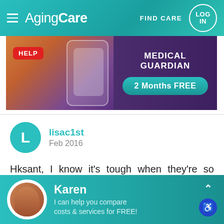AgingCare — FIND CARE | LOG IN
[Figure (photo): Medical Guardian advertisement banner showing a smartwatch with HELP button and '2 Months FREE' offer on purple background]
lisac1st
Feb 2016
Hksant, I know it's tough when they're so smart and won't do what they used to do. My dads brother kept saying "He has the right to refuse any treatment." they brought me to FL to help, then
Karen
I can help you compare costs & services for FREE!